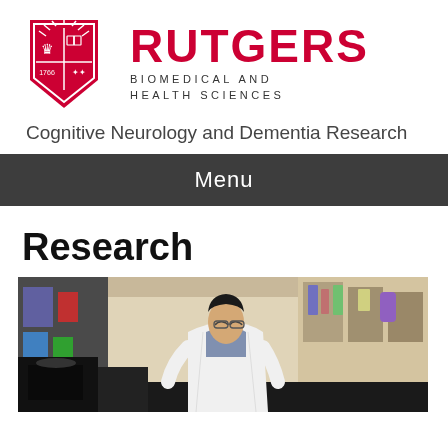[Figure (logo): Rutgers Biomedical and Health Sciences logo with red shield and university name]
Cognitive Neurology and Dementia Research
Menu
Research
[Figure (photo): Researcher in white lab coat working in a laboratory, viewed from across a lab bench with equipment in foreground]